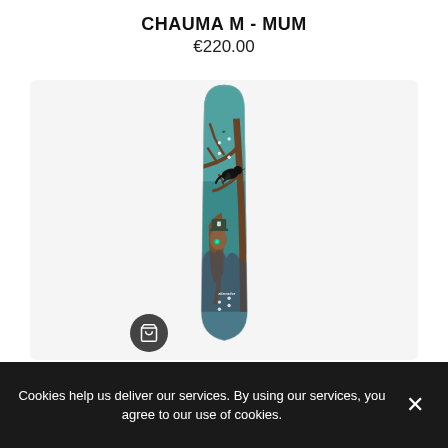CHAUMA M - MUM
€220.00
[Figure (photo): Skateboard deck with illustrated artwork showing a dark raven perched on a bare tree branch, a creature below wearing a top hat, teal/blue sky background, brand logo visible lower on the deck.]
Cookies help us deliver our services. By using our services, you agree to our use of cookies.